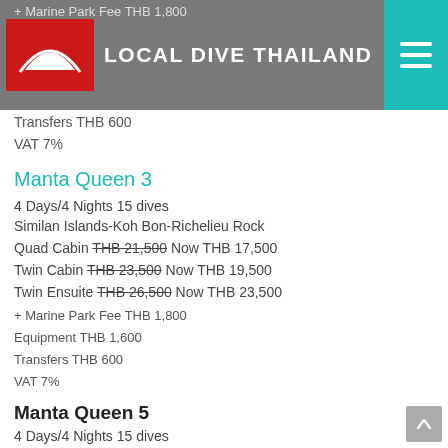LOCAL DIVE THAILAND
+ Marine Park Fee THB 1,800
Equipment THB 1,600
Transfers THB 600
VAT 7%
Manta Queen 3
4 Days/4 Nights 15 dives
Similan Islands-Koh Bon-Richelieu Rock
Quad Cabin THB 21,500 Now THB 17,500
Twin Cabin THB 23,500 Now THB 19,500
Twin Ensuite THB 26,500 Now THB 23,500
+ Marine Park Fee THB 1,800
Equipment THB 1,600
Transfers THB 600
VAT 7%
Manta Queen 5
4 Days/4 Nights 15 dives